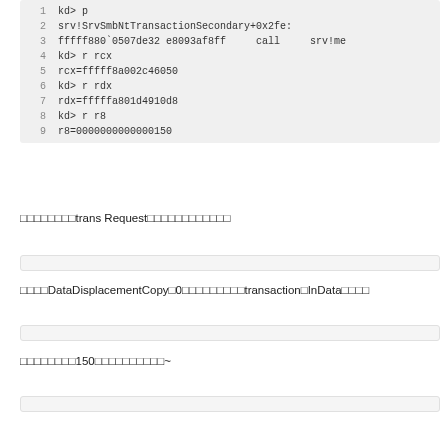[Figure (screenshot): Code block showing debugger commands: lines 1-9 with kd> prompts, register reads and values]
□□□□□□□□trans Request□□□□□□□□□□□□
[Figure (screenshot): Empty/collapsed code block]
□□□□DataDisplacementCopy□0□□□□□□□□□transaction□InData□□□□
[Figure (screenshot): Empty/collapsed code block]
□□□□□□□□150□□□□□□□□□□~
[Figure (screenshot): Empty/collapsed code block]